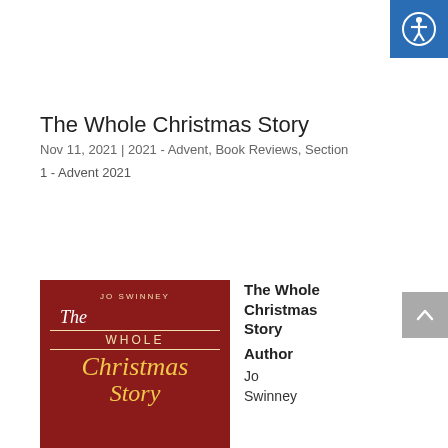[Figure (logo): Accessibility icon button in blue square, top right corner]
The Whole Christmas Story
Nov 11, 2021 | 2021 - Advent, Book Reviews, Section
1 - Advent 2021
[Figure (illustration): Book cover for 'The Whole Christmas Story' by Jo Swinney — dark red/maroon background with gold and white text and decorative script lettering]
The Whole Christmas Story
Author
Jo
Swinney